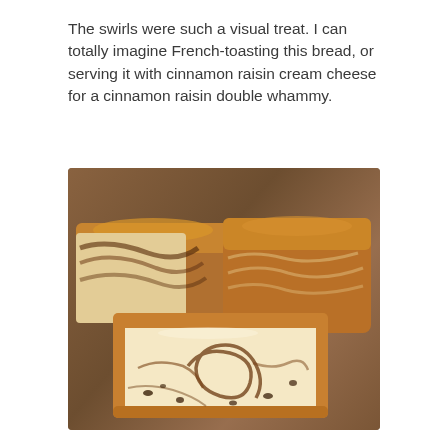The swirls were such a visual treat. I can totally imagine French-toasting this bread, or serving it with cinnamon raisin cream cheese for a cinnamon raisin double whammy.
[Figure (photo): Slices of cinnamon raisin swirl bread on a wooden cutting board, showing the swirled cinnamon filling inside the bread.]